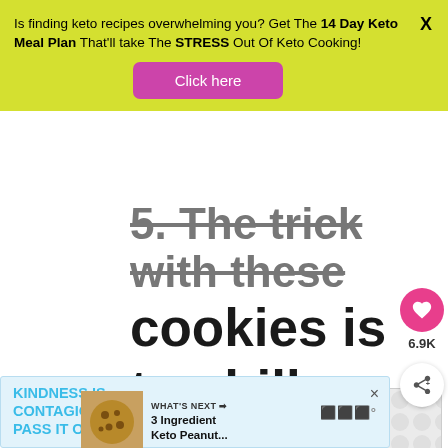Is finding keto recipes overwhelming you? Get The 14 Day Keto Meal Plan That'll take The STRESS Out Of Keto Cooking!
Click here
5. The trick with these cookies is to chill them before baking. Only chilled cookies will have that crispy finish.
6.9K
[Figure (infographic): What's Next banner showing 3 Ingredient Keto Peanut... with cookie image]
KINDNESS IS CONTAGIOUS PASS IT ON